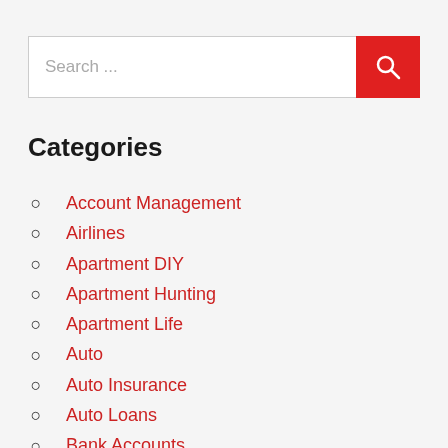[Figure (other): Search bar with text input field showing 'Search ...' placeholder and a red search button with magnifying glass icon]
Categories
Account Management
Airlines
Apartment DIY
Apartment Hunting
Apartment Life
Auto
Auto Insurance
Auto Loans
Bank Accounts
Banking